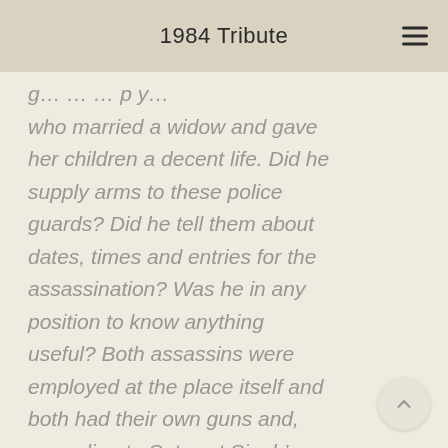1984 Tribute
who married a widow and gave her children a decent life. Did he supply arms to these police guards? Did he tell them about dates, times and entries for the assassination? Was he in any position to know anything useful? Both assassins were employed at the place itself and both had their own guns and, according to Satwant Singh's confession, both planned the